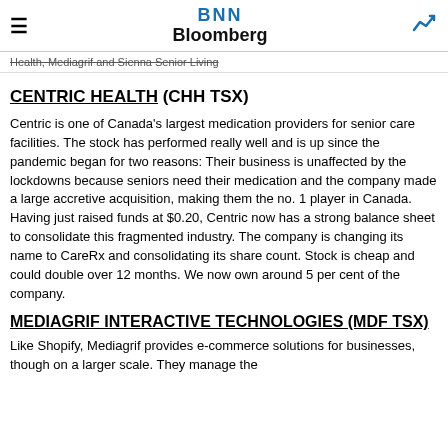BNN Bloomberg
Health, Mediagrif and Sienna Senior Living
CENTRIC HEALTH (CHH TSX)
Centric is one of Canada's largest medication providers for senior care facilities. The stock has performed really well and is up since the pandemic began for two reasons: Their business is unaffected by the lockdowns because seniors need their medication and the company made a large accretive acquisition, making them the no. 1 player in Canada. Having just raised funds at $0.20, Centric now has a strong balance sheet to consolidate this fragmented industry. The company is changing its name to CareRx and consolidating its share count. Stock is cheap and could double over 12 months. We now own around 5 per cent of the company.
MEDIAGRIF INTERACTIVE TECHNOLOGIES (MDF TSX)
Like Shopify, Mediagrif provides e-commerce solutions for businesses, though on a larger scale. They manage the